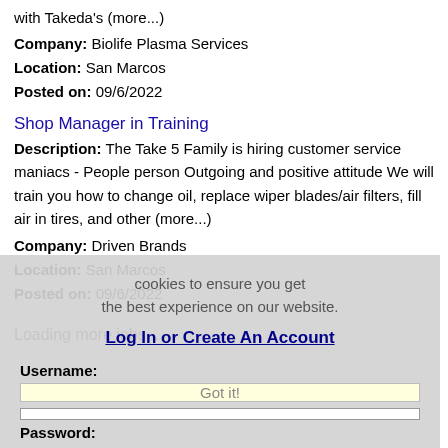with Takeda's (more...)
Company: Biolife Plasma Services
Location: San Marcos
Posted on: 09/6/2022
Shop Manager in Training
Description: The Take 5 Family is hiring customer service maniacs - People person Outgoing and positive attitude We will train you how to change oil, replace wiper blades/air filters, fill air in tires, and other (more...)
Company: Driven Brands
Location: San Marcos
Posted on: 09/6/2022
Loading more jobs...
cookies to ensure you get the best experience on our website.
Log In or Create An Account
Username:
Got it!
Password: